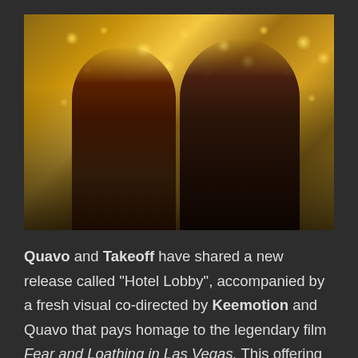[Figure (photo): Photo of two men (Quavo and Takeoff) in a warm bokeh-lit setting. Left figure wears sunglasses and a red floral shirt with gold chain. Right figure wears a black and gold patterned shirt with a bucket hat and jacket, hand raised.]
Quavo and Takeoff have shared a new release called "Hotel Lobby", accompanied by a fresh visual co-directed by Keemotion and Quavo that pays homage to the legendary film Fear and Loathing in Las Vegas. This offering marks their first release branded under the moniker Unc and Phew, a name that references the two artists' ties as blood